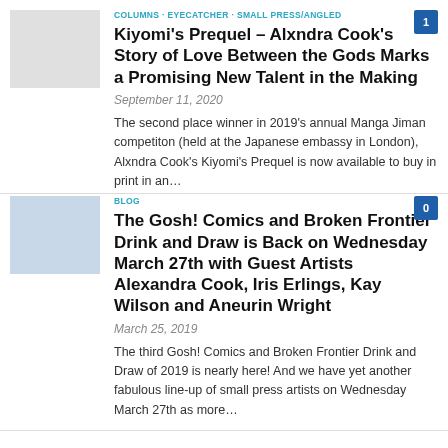COLUMNS · EYECATCHER · SMALL PRESS/ANGLED
Kiyomi's Prequel – Alxndra Cook's Story of Love Between the Gods Marks a Promising New Talent in the Making
September 11, 2020
The second place winner in 2019's annual Manga Jiman competiton (held at the Japanese embassy in London), Alxndra Cook's Kiyomi's Prequel is now available to buy in print in an…
BLOG
The Gosh! Comics and Broken Frontier Drink and Draw is Back on Wednesday March 27th with Guest Artists Alexandra Cook, Iris Erlings, Kay Wilson and Aneurin Wright
March 25, 2019
The third Gosh! Comics and Broken Frontier Drink and Draw of 2019 is nearly here! And we have yet another fabulous line-up of small press artists on Wednesday March 27th as more…